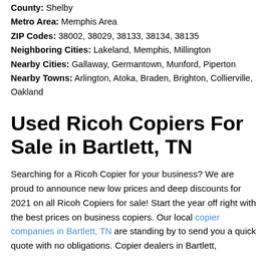County: Shelby
Metro Area: Memphis Area
ZIP Codes: 38002, 38029, 38133, 38134, 38135
Neighboring Cities: Lakeland, Memphis, Millington
Nearby Cities: Gallaway, Germantown, Munford, Piperton
Nearby Towns: Arlington, Atoka, Braden, Brighton, Collierville, Oakland
Used Ricoh Copiers For Sale in Bartlett, TN
Searching for a Ricoh Copier for your business? We are proud to announce new low prices and deep discounts for 2021 on all Ricoh Copiers for sale! Start the year off right with the best prices on business copiers. Our local copier companies in Bartlett, TN are standing by to send you a quick quote with no obligations. Copier dealers in Bartlett,